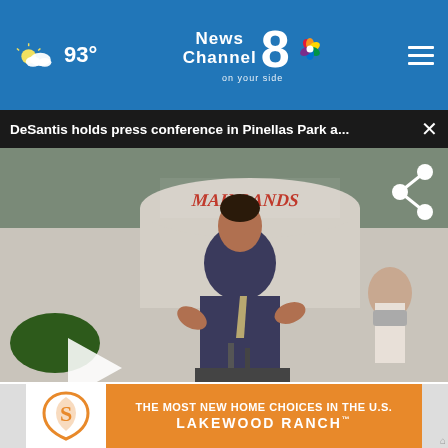93° News Channel 8 on your side
DeSantis holds press conference in Pinellas Park a...
[Figure (photo): Press conference video thumbnail showing a man in a blue suit gesturing with his hands at a podium outdoors in front of a building reading MAINLANDS. A woman in a mask is visible to the right. A play button is overlaid on the left side.]
your survey answers. If you would like to continue with this survey, please read and agree to the CivicScience Privacy Policy and Terms of Service
[Figure (infographic): Advertisement banner: THE MOST NEW HOME CHOICES IN THE U.S. LAKEWOOD RANCH with logo on white background on left]